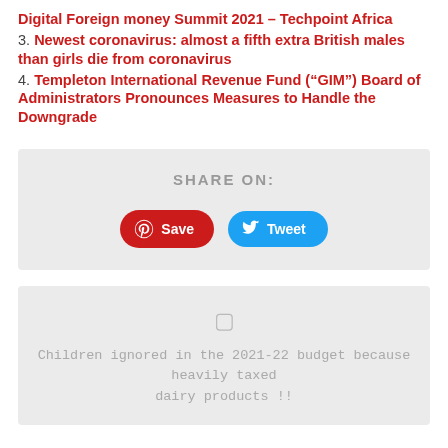Digital Foreign money Summit 2021 – Techpoint Africa
3. Newest coronavirus: almost a fifth extra British males than girls die from coronavirus
4. Templeton International Revenue Fund (“GIM”) Board of Administrators Pronounces Measures to Handle the Downgrade
[Figure (infographic): Share On section with Pinterest Save button and Tweet button]
[Figure (infographic): Related article preview box with icon and text: Children ignored in the 2021-22 budget because heavily taxed dairy products !!]